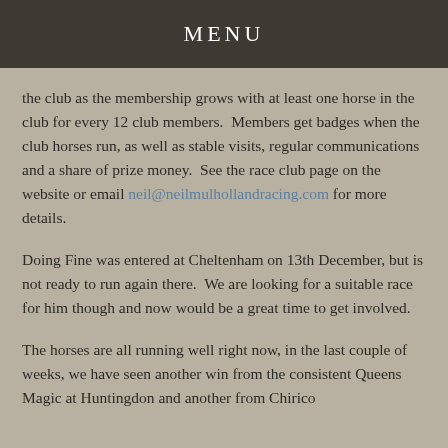MENU
the club as the membership grows with at least one horse in the club for every 12 club members.  Members get badges when the club horses run, as well as stable visits, regular communications and a share of prize money.  See the race club page on the website or email neil@neilmulhollandracing.com for more details.
Doing Fine was entered at Cheltenham on 13th December, but is not ready to run again there.  We are looking for a suitable race for him though and now would be a great time to get involved.
The horses are all running well right now, in the last couple of weeks, we have seen another win from the consistent Queens Magic at Huntingdon and another from Chirico